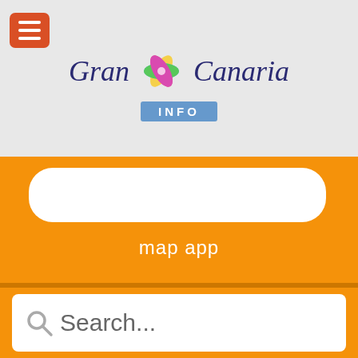[Figure (logo): Gran Canaria Info logo with colorful leaf/flower graphic and blue text]
[Figure (screenshot): Map app widget - white rounded rectangle on orange background]
map app
[Figure (screenshot): Search bar with magnifying glass icon and Search... placeholder text on white background]
Latest articles